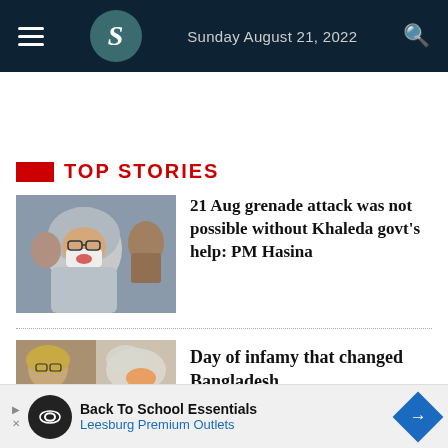Sunday August 21, 2022
Top Stories
[Figure (photo): Woman in gray headscarf and white face mask, speaking or gesturing at a conference setting, with other people in background]
21 Aug grenade attack was not possible without Khaleda govt's help: PM Hasina
[Figure (photo): Collage: woman with hand over mouth, child in red, smoke/explosion scene]
Day of infamy that changed Bangladesh
Back To School Essentials   Leesburg Premium Outlets